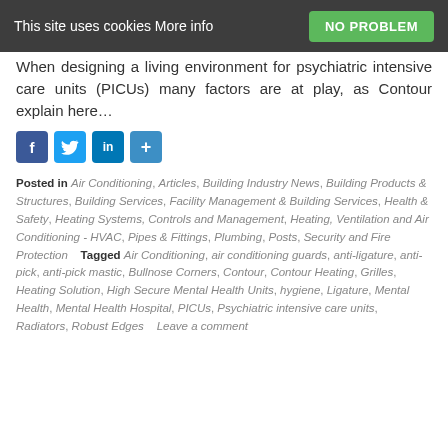This site uses cookies More info   NO PROBLEM
When designing a living environment for psychiatric intensive care units (PICUs) many factors are at play, as Contour explain here…
[Figure (other): Social sharing icons: Facebook, Twitter, LinkedIn, Share]
Posted in Air Conditioning, Articles, Building Industry News, Building Products & Structures, Building Services, Facility Management & Building Services, Health & Safety, Heating Systems, Controls and Management, Heating, Ventilation and Air Conditioning - HVAC, Pipes & Fittings, Plumbing, Posts, Security and Fire Protection   Tagged Air Conditioning, air conditioning guards, anti-ligature, anti-pick, anti-pick mastic, Bullnose Corners, Contour, Contour Heating, Grilles, Heating Solution, High Secure Mental Health Units, hygiene, Ligature, Mental Health, Mental Health Hospital, PICUs, Psychiatric intensive care units, Radiators, Robust Edges   Leave a comment